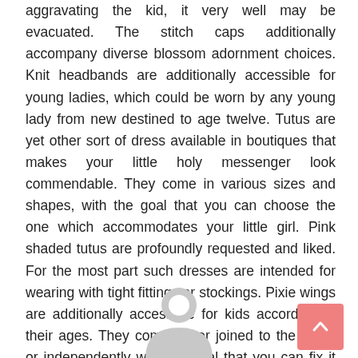aggravating the kid, it very well may be evacuated. The stitch caps additionally accompany diverse blossom adornment choices. Knit headbands are additionally accessible for young ladies, which could be worn by any young lady from new destined to age twelve. Tutus are yet other sort of dress available in boutiques that makes your little holy messenger look commendable. They come in various sizes and shapes, with the goal that you can choose the one which accommodates your little girl. Pink shaded tutus are profoundly requested and liked. For the most part such dresses are intended for wearing with tight fittings or stockings. Pixie wings are additionally accessible for kids according to their ages. They come either joined to the dress or independently with the goal that you can fix it on the dress.
[Figure (illustration): Gray avatar/profile placeholder icon at bottom center of page]
[Figure (other): Pink scroll-to-top button with upward chevron arrow at bottom right]